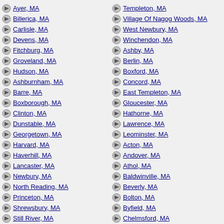Ayer, MA
Billerica, MA
Carlisle, MA
Devens, MA
Fitchburg, MA
Groveland, MA
Hudson, MA
Ashburnham, MA
Barre, MA
Boxborough, MA
Clinton, MA
Dunstable, MA
Georgetown, MA
Harvard, MA
Haverhill, MA
Lancaster, MA
Newbury, MA
North Reading, MA
Princeton, MA
Shrewsbury, MA
Still River, MA
Topsfield, MA
Wenham, MA
Templeton, MA
Village Of Nagog Woods, MA
West Newbury, MA
Winchendon, MA
Ashby, MA
Berlin, MA
Boxford, MA
Concord, MA
East Templeton, MA
Gloucester, MA
Hathorne, MA
Lawrence, MA
Leominster, MA
Acton, MA
Andover, MA
Athol, MA
Baldwinville, MA
Beverly, MA
Bolton, MA
Byfield, MA
Chelmsford, MA
Danvers, MA
Dracut, MA